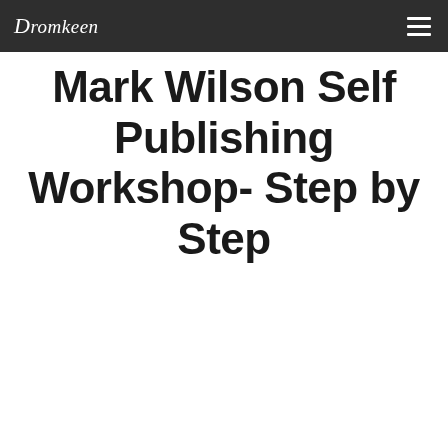Dromkeen
Mark Wilson Self Publishing Workshop- Step by Step